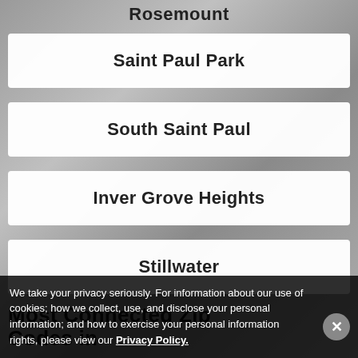Rosemount
Saint Paul Park
South Saint Paul
Inver Grove Heights
Stillwater
Most Connected Zip Codes in
We take your privacy seriously. For information about our use of cookies; how we collect, use, and disclose your personal information; and how to exercise your personal information rights, please view our Privacy Policy.